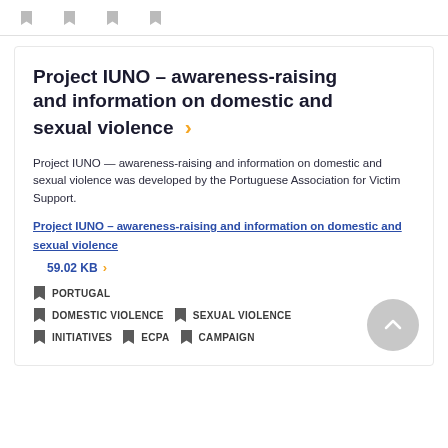Project IUNO – awareness-raising and information on domestic and sexual violence
Project IUNO — awareness-raising and information on domestic and sexual violence was developed by the Portuguese Association for Victim Support.
Project IUNO – awareness-raising and information on domestic and sexual violence 59.02 KB
PORTUGAL
DOMESTIC VIOLENCE
SEXUAL VIOLENCE
INITIATIVES
ECPA
CAMPAIGN